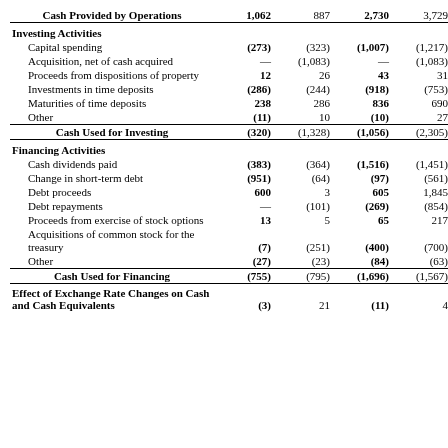|  | Col1 | Col2 | Col3 | Col4 |
| --- | --- | --- | --- | --- |
| Cash Provided by Operations | 1,062 | 887 | 2,730 | 3,729 |
| Investing Activities |  |  |  |  |
| Capital spending | (273) | (323) | (1,007) | (1,217) |
| Acquisition, net of cash acquired | — | (1,083) | — | (1,083) |
| Proceeds from dispositions of property | 12 | 26 | 43 | 31 |
| Investments in time deposits | (286) | (244) | (918) | (753) |
| Maturities of time deposits | 238 | 286 | 836 | 690 |
| Other | (11) | 10 | (10) | 27 |
| Cash Used for Investing | (320) | (1,328) | (1,056) | (2,305) |
| Financing Activities |  |  |  |  |
| Cash dividends paid | (383) | (364) | (1,516) | (1,451) |
| Change in short-term debt | (951) | (64) | (97) | (561) |
| Debt proceeds | 600 | 3 | 605 | 1,845 |
| Debt repayments | — | (101) | (269) | (854) |
| Proceeds from exercise of stock options | 13 | 5 | 65 | 217 |
| Acquisitions of common stock for the treasury | (7) | (251) | (400) | (700) |
| Other | (27) | (23) | (84) | (63) |
| Cash Used for Financing | (755) | (795) | (1,696) | (1,567) |
| Effect of Exchange Rate Changes on Cash and Cash Equivalents | (3) | 21 | (11) | 4 |